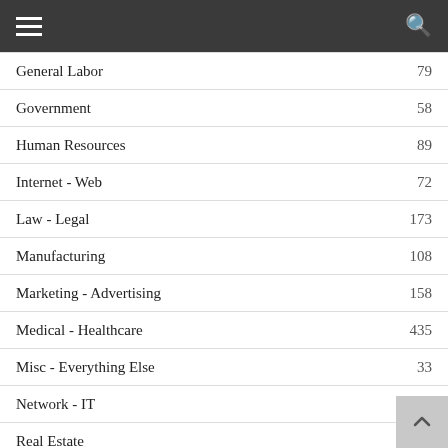Navigation bar with hamburger menu and search icon
General Labor 79
Government 58
Human Resources 89
Internet - Web 72
Law - Legal 173
Manufacturing 108
Marketing - Advertising 158
Medical - Healthcare 435
Misc - Everything Else 33
Network - IT 141
Real Estate 76